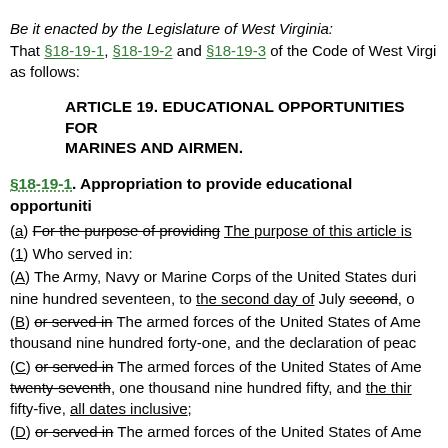Be it enacted by the Legislature of West Virginia:
That §18-19-1, §18-19-2 and §18-19-3 of the Code of West Virginia, are amended to read as follows:
ARTICLE 19. EDUCATIONAL OPPORTUNITIES FOR MARINES AND AIRMEN.
§18-19-1. Appropriation to provide educational opportunities
(a) For the purpose of providing [strikethrough] The purpose of this article is
(1) Who served in:
(A) The Army, Navy or Marine Corps of the United States during nine hundred seventeen, to the second day of July second, or
(B) or served in [strikethrough] The armed forces of the United States of America thousand nine hundred forty-one, and the declaration of peace
(C) or served in [strikethrough] The armed forces of the United States of America twenty-seventh, one thousand nine hundred fifty, and the thir fifty-five, all dates inclusive;
(D) or served in [strikethrough] The armed forces of the United States of America thousand nine hundred sixty-four, and the seventh day of May inclusive; or